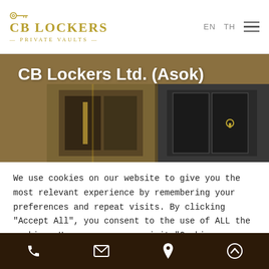CB LOCKERS — PRIVATE VAULTS — EN TH
CB Lockers Ltd. (Asok)
[Figure (photo): Interior photo of CB Lockers vault/locker room with glass partitions and warm lighting]
We use cookies on our website to give you the most relevant experience by remembering your preferences and repeat visits. By clicking "Accept All", you consent to the use of ALL the cookies. However, you may visit "Cookie Settings" to provide a controlled consent.
Cookie Settings | Accept All | Message
Phone | Email | Location | Scroll to top